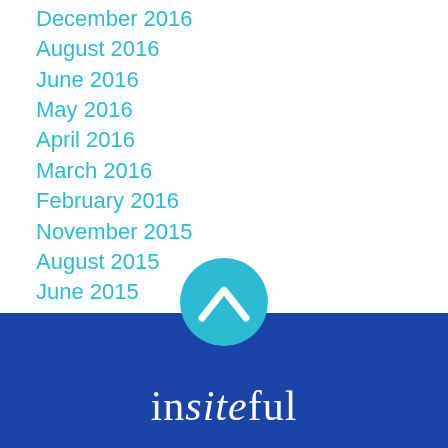December 2016
August 2016
June 2016
May 2016
April 2016
March 2016
February 2016
November 2015
August 2015
June 2015
May 2015
February 2015
January 2015
[Figure (logo): Insiteful logo: teal circle with white upward chevron arrow above a dark blue bar, with the word 'insiteful' in white serif font where 'site' is italicized]